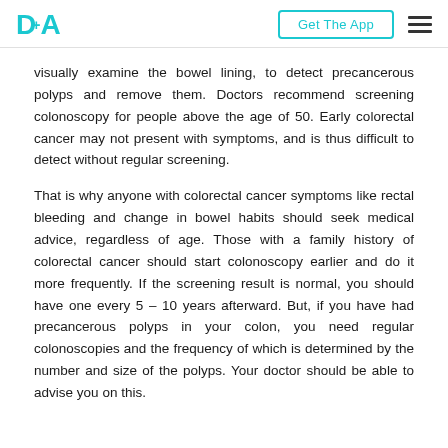DA+ Get The App ≡
visually examine the bowel lining, to detect precancerous polyps and remove them. Doctors recommend screening colonoscopy for people above the age of 50. Early colorectal cancer may not present with symptoms, and is thus difficult to detect without regular screening.
That is why anyone with colorectal cancer symptoms like rectal bleeding and change in bowel habits should seek medical advice, regardless of age. Those with a family history of colorectal cancer should start colonoscopy earlier and do it more frequently. If the screening result is normal, you should have one every 5 – 10 years afterward. But, if you have had precancerous polyps in your colon, you need regular colonoscopies and the frequency of which is determined by the number and size of the polyps. Your doctor should be able to advise you on this.